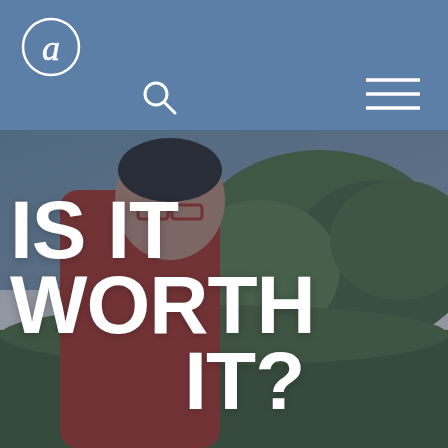[Figure (logo): Circular cursive letter 'a' logo in white outline on blue background]
[Figure (illustration): Search icon (magnifying glass) in white on blue header]
[Figure (illustration): Hamburger menu icon (three horizontal lines) in white on blue header]
[Figure (photo): Background photo of a man in a red jacket wearing glasses, standing outdoors with trees in background, overlaid with dark tint]
IS IT WORTH IT?